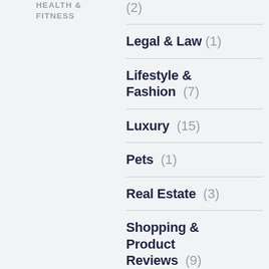HEALTH & FITNESS
(2)
Legal & Law (1)
Lifestyle & Fashion (7)
Luxury (15)
Pets (1)
Real Estate (3)
Shopping & Product Reviews (9)